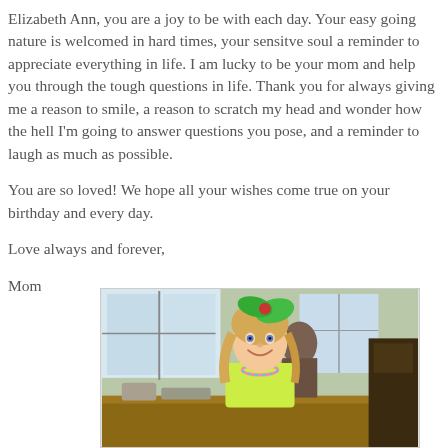Elizabeth Ann, you are a joy to be with each day. Your easy going nature is welcomed in hard times, your sensitve soul a reminder to appreciate everything in life. I am lucky to be your mom and help you through the tough questions in life. Thank you for always giving me a reason to smile, a reason to scratch my head and wonder how the hell I'm going to answer questions you pose, and a reminder to laugh as much as possible.

You are so loved! We hope all your wishes come true on your birthday and every day.

Love always and forever,

Mom
[Figure (photo): A young blonde girl smiling, wearing a yellow top and colorful necklace, with a large green bow in her hair. She is seated at a table indoors near windows, with another person visible in the background.]